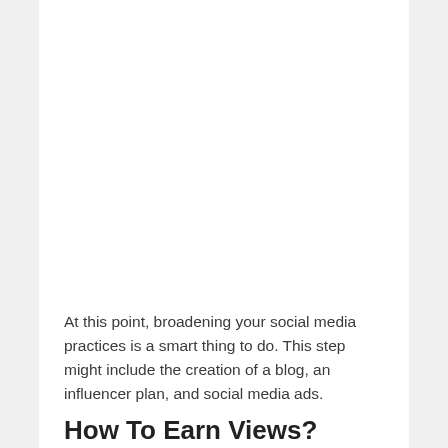At this point, broadening your social media practices is a smart thing to do. This step might include the creation of a blog, an influencer plan, and social media ads.
How To Earn Views?